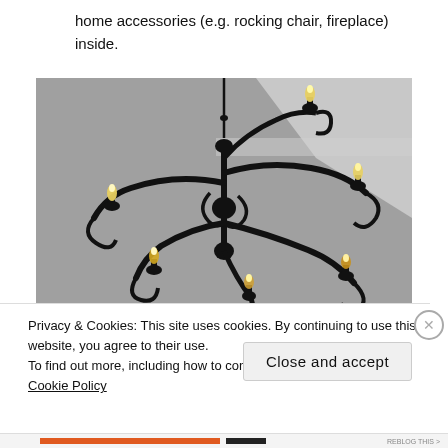home accessories (e.g. rocking chair, fireplace) inside.
[Figure (photo): A black wrought iron chandelier with multiple candle-style bulbs glowing, photographed from below against a grey ceiling interior.]
Privacy & Cookies: This site uses cookies. By continuing to use this website, you agree to their use.
To find out more, including how to control cookies, see here: Cookie Policy
Close and accept